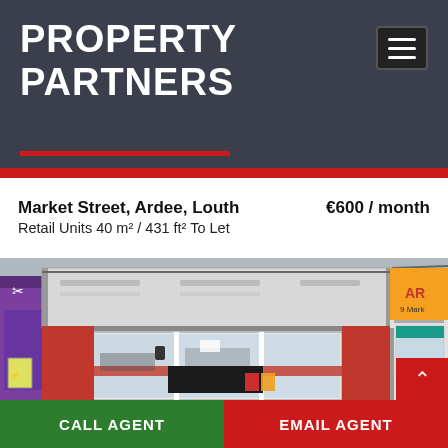PROPERTY PARTNERS
Market Street, Ardee, Louth   €600 / month
Retail Units 40 m² / 431 ft² To Let
[Figure (photo): Exterior photo of a retail unit on Market Street, Ardee, Louth. The storefront has a red facade with white-framed display windows. A purple-painted shop is visible to the left. Signage for 'AR' (partially visible) appears on the right side.]
CALL AGENT
EMAIL AGENT